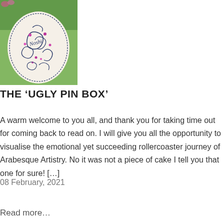[Figure (photo): A decorated egg or stone with intricate blue henna/arabesque patterns and pink/purple dots, with the word 'Noshi' written on it, photographed against a green blurred background.]
THE ‘UGLY PIN BOX’
A warm welcome to you all, and thank you for taking time out for coming back to read on. I will give you all the opportunity to visualise the emotional yet succeeding rollercoaster journey of Arabesque Artistry. No it was not a piece of cake I tell you that one for sure! […]
08 February, 2021
Read more…